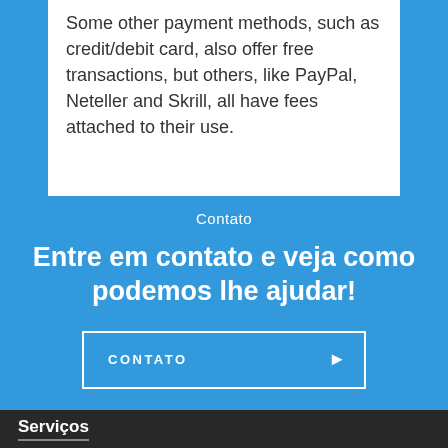Some other payment methods, such as credit/debit card, also offer free transactions, but others, like PayPal, Neteller and Skrill, all have fees attached to their use.
Contato
Entre em contato e veja como podemos lhe ajudar!
CONTATO ➤
Serviços